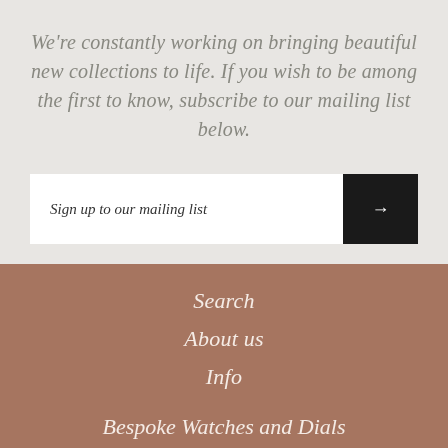We're constantly working on bringing beautiful new collections to life. If you wish to be among the first to know, subscribe to our mailing list below.
Sign up to our mailing list →
Search
About us
Info
Bespoke Watches and Dials